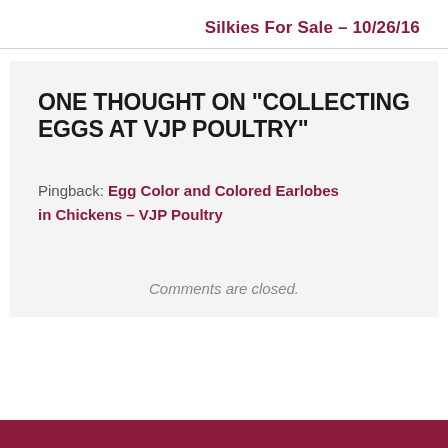Silkies For Sale – 10/26/16
ONE THOUGHT ON “COLLECTING EGGS AT VJP POULTRY”
Pingback: Egg Color and Colored Earlobes in Chickens – VJP Poultry
Comments are closed.